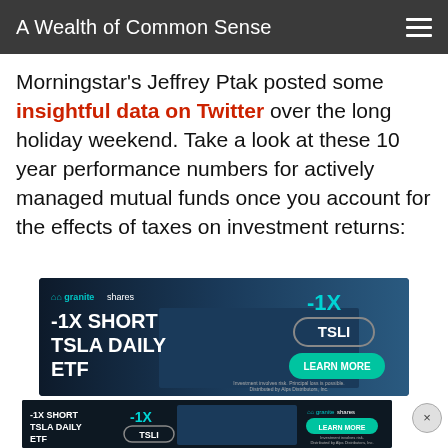A Wealth of Common Sense
Morningstar's Jeffrey Ptak posted some insightful data on Twitter over the long holiday weekend. Take a look at these 10 year performance numbers for actively managed mutual funds once you account for the effects of taxes on investment returns:
[Figure (photo): GraniteShares advertisement banner: -1X SHORT TSLA DAILY ETF with Tesla car image, TSLI ticker label and LEARN MORE button]
[Figure (photo): GraniteShares advertisement banner (smaller, bottom): -1X SHORT TSLA DAILY ETF with TSLI and LEARN MORE button, with close (X) button]